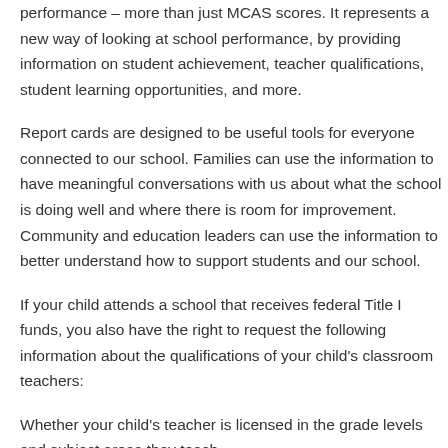performance – more than just MCAS scores. It represents a new way of looking at school performance, by providing information on student achievement, teacher qualifications, student learning opportunities, and more.
Report cards are designed to be useful tools for everyone connected to our school. Families can use the information to have meaningful conversations with us about what the school is doing well and where there is room for improvement. Community and education leaders can use the information to better understand how to support students and our school.
If your child attends a school that receives federal Title I funds, you also have the right to request the following information about the qualifications of your child's classroom teachers:
Whether your child's teacher is licensed in the grade levels and subject areas they teach,